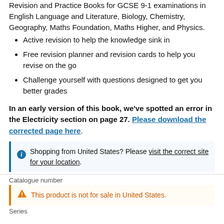Revision and Practice Books for GCSE 9-1 examinations in English Language and Literature, Biology, Chemistry, Geography, Maths Foundation, Maths Higher, and Physics.
Active revision to help the knowledge sink in
Free revision planner and revision cards to help you revise on the go
Challenge yourself with questions designed to get you better grades
In an early version of this book, we've spotted an error in the Electricity section on page 27. Please download the corrected page here.
Shopping from United States? Please visit the correct site for your location.
Catalogue number
This product is not for sale in United States.
Series